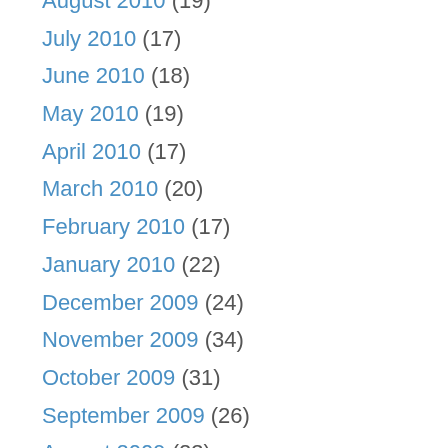August 2010 (19)
July 2010 (17)
June 2010 (18)
May 2010 (19)
April 2010 (17)
March 2010 (20)
February 2010 (17)
January 2010 (22)
December 2009 (24)
November 2009 (34)
October 2009 (31)
September 2009 (26)
August 2009 (23)
July 2009 (26)